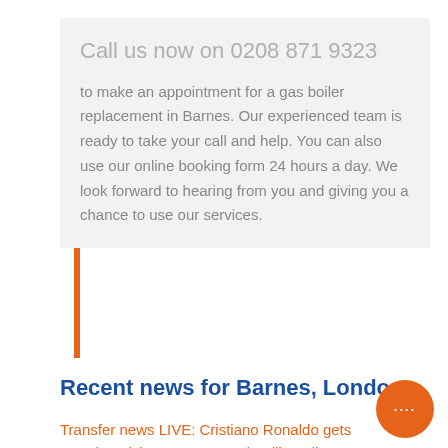Call us now on 0208 871 9323
to make an appointment for a gas boiler replacement in Barnes. Our experienced team is ready to take your call and help. You can also use our online booking form 24 hours a day. We look forward to hearing from you and giving you a chance to use our services.
Recent news for Barnes, London
Transfer news LIVE: Cristiano Ronaldo gets Sporting Lisbon OFFER, Dele Alli Besiktas loan